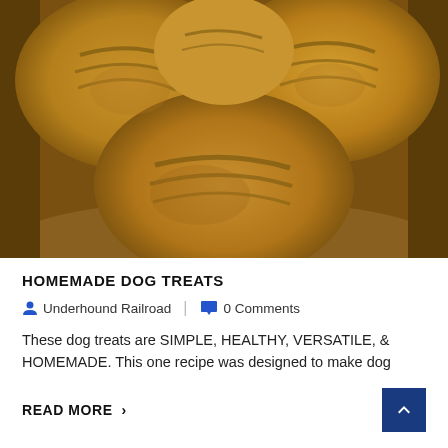[Figure (photo): Close-up photograph of golden-brown homemade dog treats/cookies in a glass jar viewed from above]
HOMEMADE DOG TREATS
Underhound Railroad | 0 Comments
These dog treats are SIMPLE, HEALTHY, VERSATILE, & HOMEMADE. This one recipe was designed to make dog
READ MORE >